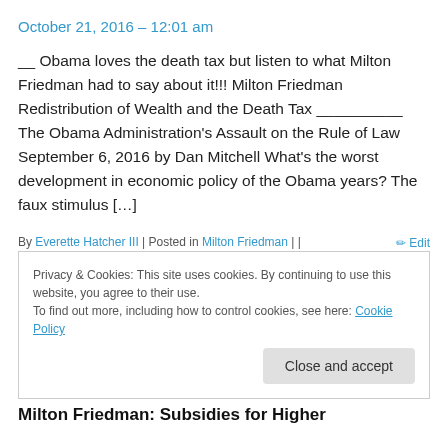October 21, 2016 – 12:01 am
__ Obama loves the death tax but listen to what Milton Friedman had to say about it!!! Milton Friedman Redistribution of Wealth and the Death Tax __________ The Obama Administration's Assault on the Rule of Law September 6, 2016 by Dan Mitchell What's the worst development in economic policy of the Obama years? The faux stimulus […]
By Everette Hatcher III | Posted in Milton Friedman | |  ✏ Edit
Privacy & Cookies: This site uses cookies. By continuing to use this website, you agree to their use.
To find out more, including how to control cookies, see here: Cookie Policy
Close and accept
Milton Friedman: Subsidies for Higher